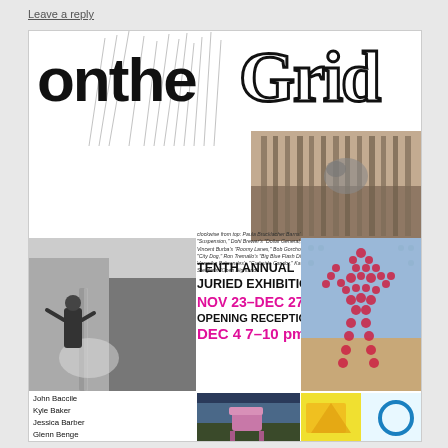Leave a reply
[Figure (illustration): On the Grid exhibition poster with bold typographic title, photos of urban scenes, a mosaic figure, and event details]
ontheGrid
clockwise from top: Paula Brucklacher Barns' "Suspension," Doll Grewers's "Dollar General," Vincent Burba's "Roomy Lanes," Bob Gorchov's "City Dog," Ron Tremallo's "Big Blue Flash Dim," Veronika Behrendes's "Curbside Candor," Kai Steigler's "Open Highland"
TENTH ANNUAL JURIED EXHIBITION
NOV 23–DEC 27
OPENING RECEPTION
DEC 4  7–10 pm
John Baccile
Kyle Baker
Jessica Barber
Glenn Benge
Jim Biglan
Meryl Bonderow
DoN Brewer